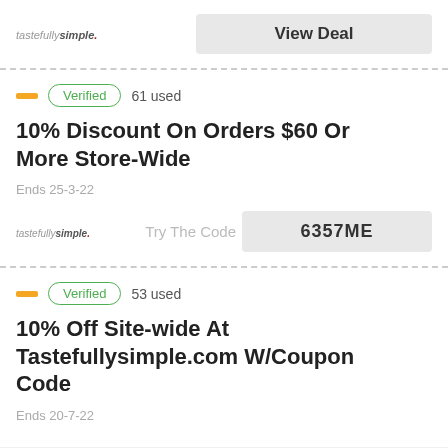[Figure (logo): tastefully simple logo]
View Deal
Verified  61 used
10% Discount On Orders $60 Or More Store-Wide
Ends 25-3-22
[Figure (logo): tastefully simple logo small]
Try The Code  6357ME
Verified  53 used
10% Off Site-wide At Tastefullysimple.com W/Coupon Code
Ends 20-7-22